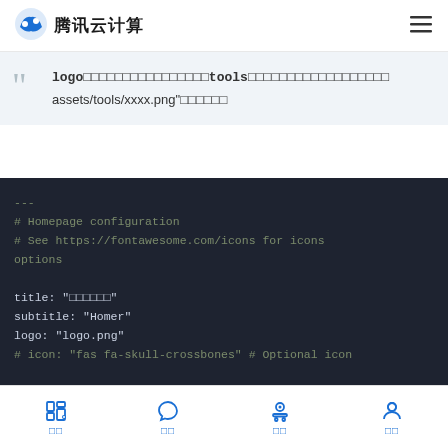腾讯云计算
logo□□□□□□□□□□□□□□□□tools□□□□□□□□□□□□□□□□□□assets/tools/xxxx.png"□□□□□□
---
# Homepage configuration
# See https://fontawesome.com/icons for icons options

title: "□□□□□□"
subtitle: "Homer"
logo: "logo.png"
# icon: "fas fa-skull-crossbones" # Optional icon

header: true
footer: '□□□□□□□□□□' # set false if you want to hide it.
□□ □□ □□ □□